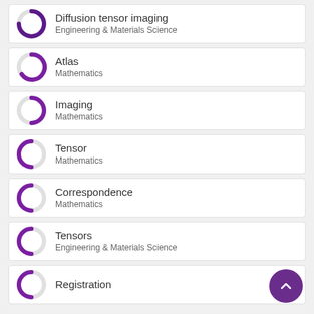Diffusion tensor imaging | Engineering & Materials Science
Atlas | Mathematics
Imaging | Mathematics
Tensor | Mathematics
Correspondence | Mathematics
Tensors | Engineering & Materials Science
Registration | (partial)